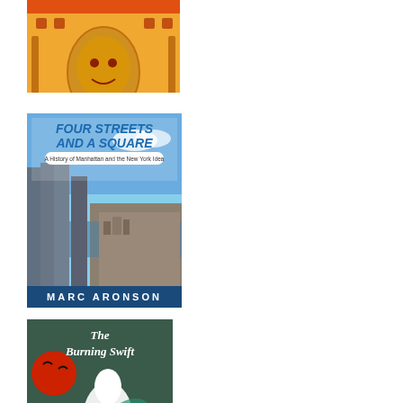[Figure (illustration): Book cover with orange/yellow folk art style design featuring decorative patterns and text 'e.e. Charlton-Trujillo' at bottom]
[Figure (illustration): Book cover 'FOUR STREETS AND A SQUARE: A History of Manhattan and the New York Idea' by Marc Aronson, showing aerial view of Manhattan with modern skyline on left and historical city on right, blue sky background]
[Figure (illustration): Book cover 'THE BURNING SWIFT' by Joseph, showing fantasy art with a white rearing horse, dragon, sword with cross, red sun, dark and teal colors]